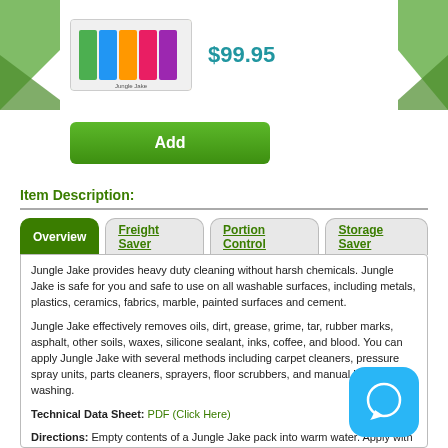[Figure (photo): Product image of Jungle Jake cleaning product packs, colorful packaging]
$99.95
[Figure (other): Green Add button]
Item Description:
Overview | Freight Saver | Portion Control | Storage Saver tabs
Jungle Jake provides heavy duty cleaning without harsh chemicals. Jungle Jake is safe for you and safe to use on all washable surfaces, including metals, plastics, ceramics, fabrics, marble, painted surfaces and cement.
Jungle Jake effectively removes oils, dirt, grease, grime, tar, rubber marks, asphalt, other soils, waxes, silicone sealant, inks, coffee, and blood. You can apply Jungle Jake with several methods including carpet cleaners, pressure spray units, parts cleaners, sprayers, floor scrubbers, and manual hand washing.
Technical Data Sheet: PDF (Click Here)
Directions: Empty contents of a Jungle Jake pack into warm water. Apply with sponge, cloth, or trigger sprayer. Wipe away with damp cloth. Mix each pack with 1 quart of water for allpurpose spray-and-wipe cleaning.